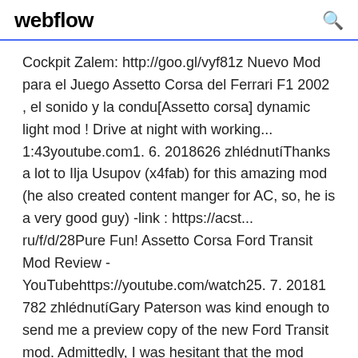webflow
Cockpit Zalem: http://goo.gl/vyf81z Nuevo Mod para el Juego Assetto Corsa del Ferrari F1 2002 , el sonido y la condu[Assetto corsa] dynamic light mod ! Drive at night with working... 1:43youtube.com1. 6. 2018626 zhlédnutíThanks a lot to Ilja Usupov (x4fab) for this amazing mod (he also created content manger for AC, so, he is a very good guy) -link : https://acst... ru/f/d/28Pure Fun! Assetto Corsa Ford Transit Mod Review - YouTubehttps://youtube.com/watch25. 7. 20181 782 zhlédnutíGary Paterson was kind enough to send me a preview copy of the new Ford Transit mod. Admittedly, I was hesitant that the mod would be a gimmick, but it's anyAssetto